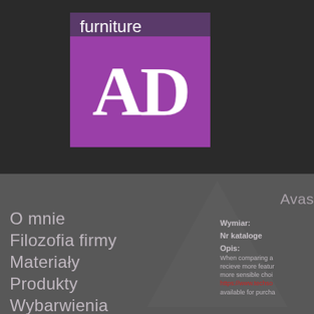[Figure (logo): Furniture AD logo — word 'furniture' on dark purple background above large white 'AD' letters on bright purple/magenta square background]
O mnie
Filozofia firmy
Materiały
Produkty
Wybarwienia
Avas
Wymiar:
Nr kataloge
Opis:
When comparing a
recieve more featur
more sensible choi
https://www.techso
available for purcha